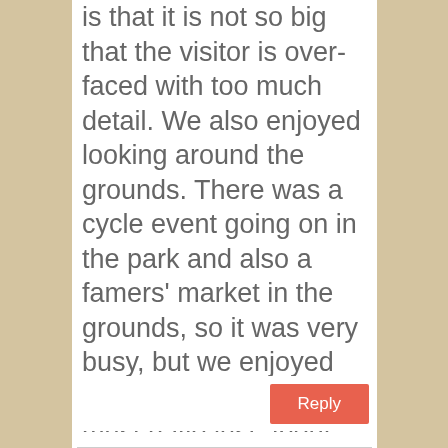is that it is not so big that the visitor is over-faced with too much detail. We also enjoyed looking around the grounds. There was a cycle event going on in the park and also a famers' market in the grounds, so it was very busy, but we enjoyed the herb garden, which must have just about every kind of herb available and which was pleasantly quiet. Lots of miniature cyclamen were blooming like crocuses under the trees. Lovely!